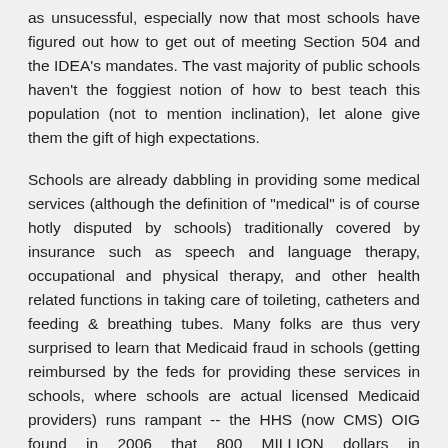as unsucessful, especially now that most schools have figured out how to get out of meeting Section 504 and the IDEA's mandates. The vast majority of public schools haven't the foggiest notion of how to best teach this population (not to mention inclination), let alone give them the gift of high expectations.
Schools are already dabbling in providing some medical services (although the definition of "medical" is of course hotly disputed by schools) traditionally covered by insurance such as speech and language therapy, occupational and physical therapy, and other health related functions in taking care of toileting, catheters and feeding & breathing tubes. Many folks are thus very surprised to learn that Medicaid fraud in schools (getting reimbursed by the feds for providing these services in schools, where schools are actual licensed Medicaid providers) runs rampant -- the HHS (now CMS) OIG found in 2006 that 800 MILLION dollars in reimbursement had been improperly claimed by schools:
http://www.oig.hhs.gov/publications/docs/redbook/Red%20